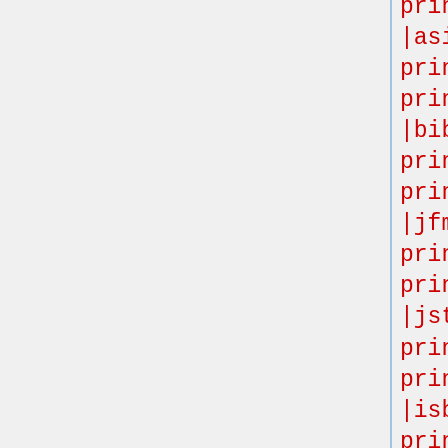print
|asin=Template:Hide in printTemplate:Only in print
|bibcode=Template:Hide in printTemplate:Only in print
|jfm=Template:Hide in printTemplate:Only in print
|jstor=Template:Hide in printTemplate:Only in print
|isbn=Template:Hide in printTemplate:Only in print
|issn=Template:Hide in printTemplate:Only in print
|mr=Template:Hide in printTemplate:Only in print
|oclc=Template:Hide in printTemplate:Only in print